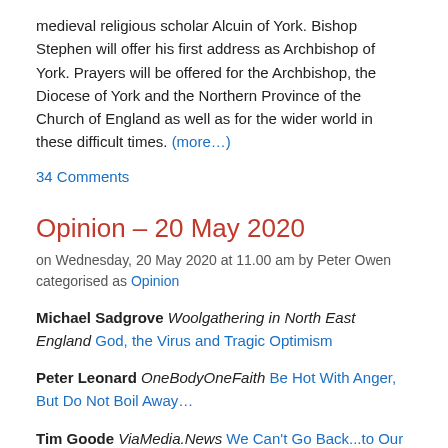medieval religious scholar Alcuin of York. Bishop Stephen will offer his first address as Archbishop of York. Prayers will be offered for the Archbishop, the Diocese of York and the Northern Province of the Church of England as well as for the wider world in these difficult times. (more…)
34 Comments
Opinion – 20 May 2020
on Wednesday, 20 May 2020 at 11.00 am by Peter Owen categorised as Opinion
Michael Sadgrove Woolgathering in North East England God, the Virus and Tragic Optimism
Peter Leonard OneBodyOneFaith Be Hot With Anger, But Do Not Boil Away…
Tim Goode ViaMedia.News We Can't Go Back...to Our Old Familiar Cages!